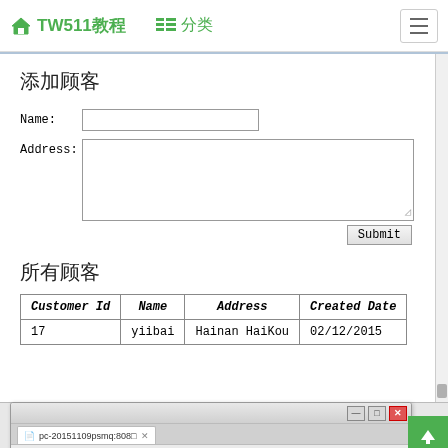TW511教程  列表  分类
[Figure (screenshot): Browser screenshot showing a web form titled '添加顾客' (Add Customer) with Name and Address fields and a Submit button, followed by '所有顾客' (All Customers) table with columns Customer Id, Name, Address, Created Date and one row: 17, yiibai, Hainan HaiKou, 02/12/2015]
[Figure (screenshot): Second browser window showing Struts2 Full Hibernate Plugin 实例 page with '添加顾客' form with Name and Address fields, URL: pc 20151109psmq:8080/full_hibernate/addCustomerAction.action]